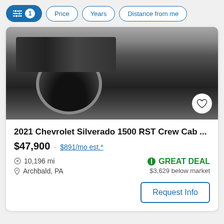Filters: 1 active | Price | Years | Distance from me
[Figure (photo): Dark black Chevrolet Silverado 1500 truck front/side angle view in a parking area, showing grille, tires, and running boards]
2021 Chevrolet Silverado 1500 RST Crew Cab ...
$47,900 · $891/mo est.*
10,196 mi
Archbald, PA
GREAT DEAL $3,629 below market
Request Info